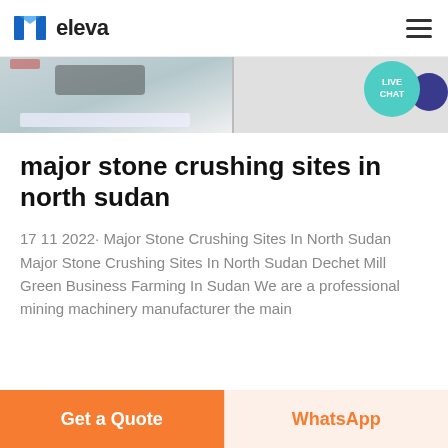eleva
[Figure (photo): Partial view of a stone/material crushing or processing scene with machinery visible at the top]
major stone crushing sites in north sudan
17 11 2022· Major Stone Crushing Sites In North Sudan Major Stone Crushing Sites In North Sudan Dechet Mill Green Business Farming In Sudan We are a professional mining machinery manufacturer the main
Get a Quote
WhatsApp